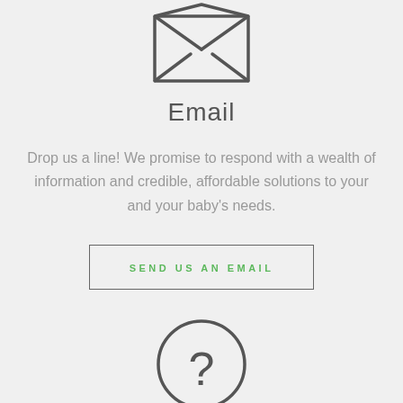[Figure (illustration): Envelope/email icon - outlined envelope with X fold lines on the flap, dark gray on light gray background]
Email
Drop us a line! We promise to respond with a wealth of information and credible, affordable solutions to your and your baby's needs.
[Figure (illustration): Button with bordered rectangle containing green uppercase text: SEND US AN EMAIL]
[Figure (illustration): Question mark icon - outlined circle with a question mark inside, dark gray on light gray background, partially visible at bottom]